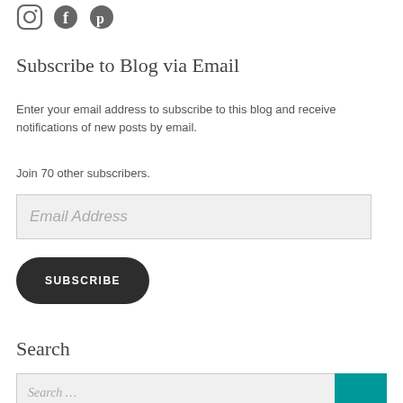[Figure (illustration): Social media icons: Instagram, Facebook, Pinterest]
Subscribe to Blog via Email
Enter your email address to subscribe to this blog and receive notifications of new posts by email.
Join 70 other subscribers.
[Figure (other): Email Address input field (placeholder text)]
[Figure (other): SUBSCRIBE button]
Search
[Figure (other): Search input field with teal search button]